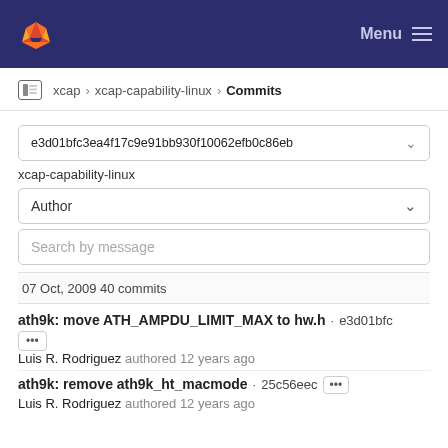Menu
xcap › xcap-capability-linux › Commits
e3d01bfc3ea4f17c9e91bb930f10062efb0c86eb
xcap-capability-linux
Author
Search by message
07 Oct, 2009 40 commits
ath9k: move ATH_AMPDU_LIMIT_MAX to hw.h · e3d01bfc
Luis R. Rodriguez authored 12 years ago
ath9k: remove ath9k_ht_macmode · 25c56eec
Luis R. Rodriguez authored 12 years ago